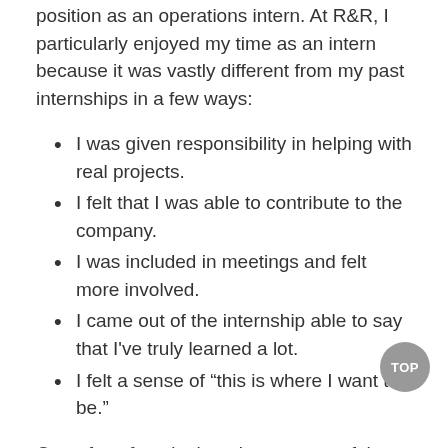position as an operations intern. At R&R, I particularly enjoyed my time as an intern because it was vastly different from my past internships in a few ways:
I was given responsibility in helping with real projects.
I felt that I was able to contribute to the company.
I was included in meetings and felt more involved.
I came out of the internship able to say that I've truly learned a lot.
I felt a sense of “this is where I want to be.”
One of my favorite learning aspects of the program was that interns from all offices had a chance to sit down as a group and learn more about the brand, creative, media and engagement departments. This helped us to really gauge how the different components of the agency work in sync to create a